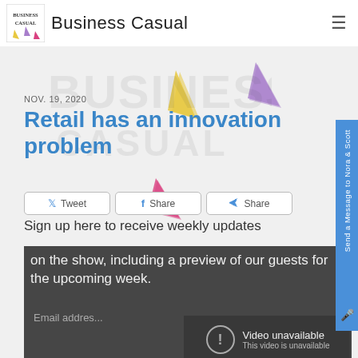Business Casual
[Figure (illustration): Decorative paper airplane arrows in yellow, purple, pink colors with Business Casual watermark logo in background]
NOV. 19, 2020
Retail has an innovation problem
[Figure (infographic): Social sharing buttons: Tweet, Share (Facebook), Share]
Sign up here to receive weekly updates on the show, including a preview of our guests for the upcoming week.
Email address
[Figure (screenshot): Video unavailable - This video is unavailable overlay]
Send a Message to Nora & Scott